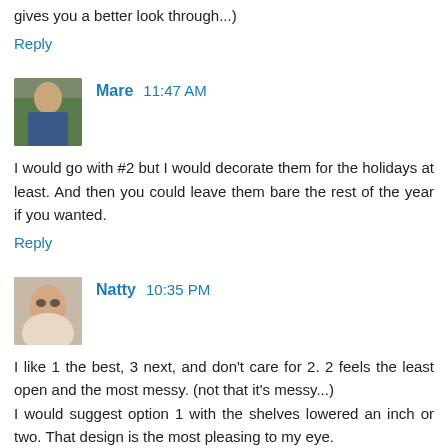gives you a better look through...)
Reply
Mare  11:47 AM
I would go with #2 but I would decorate them for the holidays at least. And then you could leave them bare the rest of the year if you wanted.
Reply
Natty  10:35 PM
I like 1 the best, 3 next, and don't care for 2. 2 feels the least open and the most messy. (not that it's messy...) I would suggest option 1 with the shelves lowered an inch or two. That design is the most pleasing to my eye. MAYBE... you should measure the height of the openings and put the shelf at 1/5th exactly... if that doesn't look good try 1/4th. They eye can spot ratios even when you don't realize.